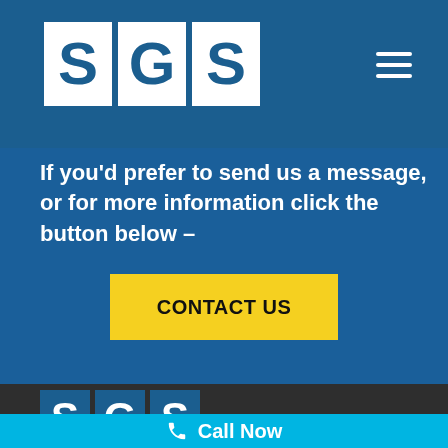[Figure (logo): SGS logo with three white letter boxes on dark blue background, top navigation bar]
If you'd prefer to send us a message, or for more information click the button below –
CONTACT US
[Figure (logo): SGS logo with three blue letter boxes on dark background, footer]
We are based in Leigh, Greater Manchester. However,
Call Now